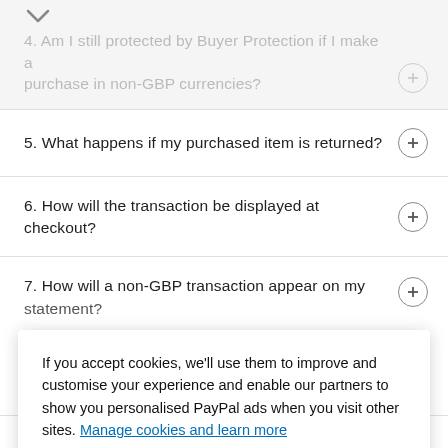4. Am I still protected by Buyer Protection if I make a purchase in non-GBP currencies?
5. What happens if my purchased item is returned?
6. How will the transaction be displayed at checkout?
7. How will a non-GBP transaction appear on my statement?
If you accept cookies, we'll use them to improve and customise your experience and enable our partners to show you personalised PayPal ads when you visit other sites. Manage cookies and learn more
1. How do I increase my credit limit?